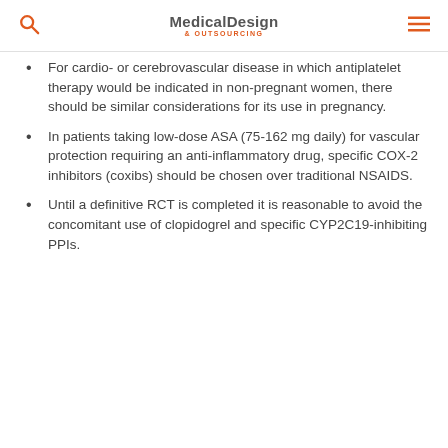Medical Design & Outsourcing
For cardio- or cerebrovascular disease in which antiplatelet therapy would be indicated in non-pregnant women, there should be similar considerations for its use in pregnancy.
In patients taking low-dose ASA (75-162 mg daily) for vascular protection requiring an anti-inflammatory drug, specific COX-2 inhibitors (coxibs) should be chosen over traditional NSAIDS.
Until a definitive RCT is completed it is reasonable to avoid the concomitant use of clopidogrel and specific CYP2C19-inhibiting PPIs.